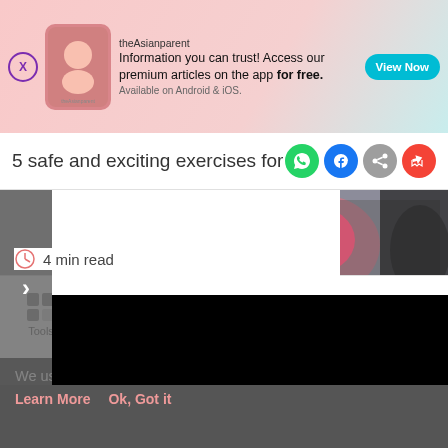[Figure (screenshot): theAsianparent app advertisement banner with close button, logo, headline text and View Now CTA button]
5 safe and exciting exercises for expe
[Figure (photo): Exercise photo showing person doing plank/exercise with pink top, partially obscured by black overlay panel with navigation arrow]
4 min read
[Figure (screenshot): Bottom navigation bar with Tools, Articles, center pregnant woman icon, Feed, and Poll icons]
We use cookies to ensure you get the best experience.
Learn More   Ok, Got it